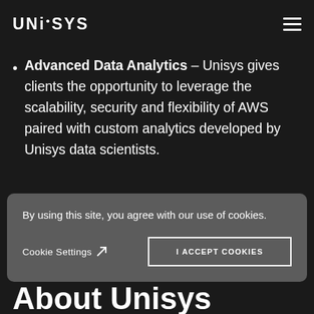UNISYS
Advanced Data Analytics – Unisys gives clients the opportunity to leverage the scalability, security and flexibility of AWS paired with custom analytics developed by Unisys data scientists.
In addition, qualified state and local government agencies may purchase AWS services under
By using this site, you agree with our use of cookies.
Cookie Settings  I ACCEPT COOKIES
About Unisys